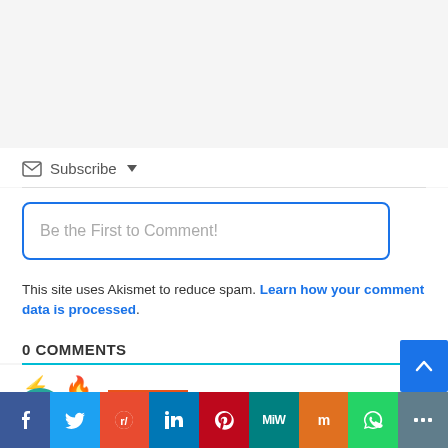Subscribe ▾
Be the First to Comment!
This site uses Akismet to reduce spam. Learn how your comment data is processed.
0 COMMENTS
[Figure (screenshot): Social share bar with icons: Facebook, Twitter, Reddit, LinkedIn, Pinterest, MeWe, Mix, WhatsApp, More]